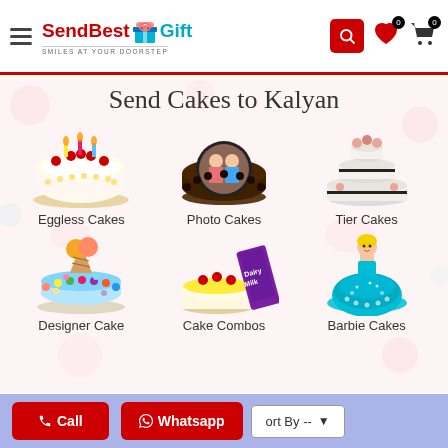[Figure (screenshot): SendBestGift website header with logo, hamburger menu, search button, wishlist and cart icons with 0 badges]
Send Cakes to Kalyan
[Figure (photo): Eggless Cake - round white cake with red cherries and candles]
Eggless Cakes
[Figure (photo): Photo Cake - dark chocolate round cake with couple photo]
Photo Cakes
[Figure (photo): Tier Cakes - three tier white wedding cake with roses]
Tier Cakes
[Figure (photo): Designer Cake - colorful ice cream themed designer cake]
Designer Cake
[Figure (photo): Cake Combos - pineapple cake with Dairy Milk chocolate bar]
Cake Combos
[Figure (photo): Barbie Cakes - teal blue Barbie doll cake]
Barbie Cakes
Call
Whatsapp
Sort By --